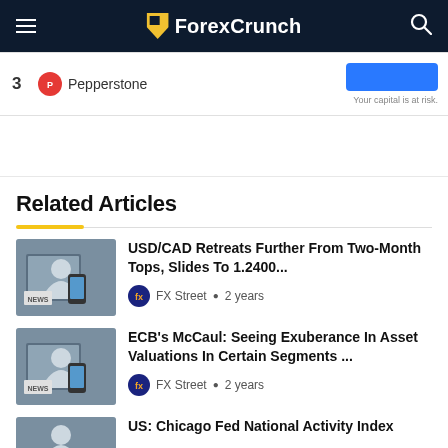ForexCrunch
[Figure (screenshot): Advertisement banner showing Pepperstone broker listing with number 3, Pepperstone logo, a blue CTA button, and 'Your capital is at risk.' disclaimer]
Related Articles
USD/CAD Retreats Further From Two-Month Tops, Slides To 1.2400... — FX Street • 2 years
ECB's McCaul: Seeing Exuberance In Asset Valuations In Certain Segments ... — FX Street • 2 years
US: Chicago Fed National Activity Index